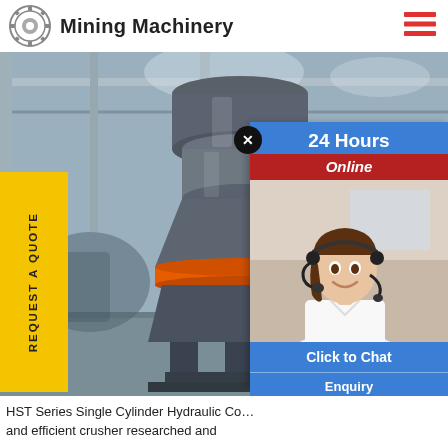Mining Machinery
[Figure (photo): Industrial warehouse interior showing a large HST Series Single Cylinder Hydraulic Cone Crusher machine in grey and orange colors on a metal stand, with blurred factory background. A yellow 'REQUEST A QUOTE' vertical button on the left. A chat popup on the right showing '24 Hours Online' with a female customer service agent wearing a headset.]
HST Series Single Cylinder Hydraulic Cone Crusher is a new and efficient crusher researched and
Click to Chat
Enquiry